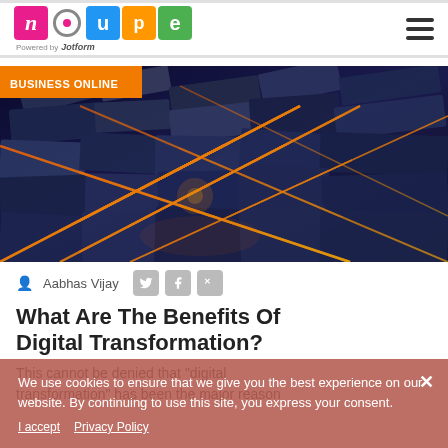noupe — Powered by Jotform
[Figure (photo): Abstract dark metallic geometric structures with glowing orange grid lines, futuristic technology background]
BUSINESS ONLINE
Aabhas Vijay
What Are The Benefits Of Digital Transformation?
This cannot be denied that "digital transformation" has been the major reason
We use cookies to ensure that we give you the best experience on our website. By continuing to use this site, you express your consent.
I accept   Privacy Policy